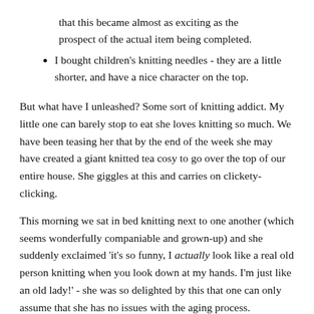that this became almost as exciting as the prospect of the actual item being completed.
I bought children's knitting needles - they are a little shorter, and have a nice character on the top.
But what have I unleashed? Some sort of knitting addict. My little one can barely stop to eat she loves knitting so much. We have been teasing her that by the end of the week she may have created a giant knitted tea cosy to go over the top of our entire house. She giggles at this and carries on clickety-clicking.
This morning we sat in bed knitting next to one another (which seems wonderfully companiable and grown-up) and she suddenly exclaimed 'it's so funny, I actually look like a real old person knitting when you look down at my hands. I'm just like an old lady!' - she was so delighted by this that one can only assume that she has no issues with the aging process.